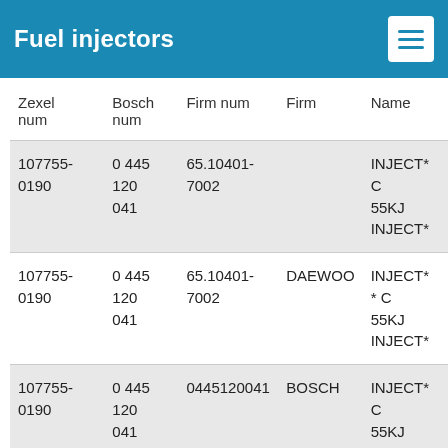Fuel injectors
| Zexel num | Bosch num | Firm num | Firm | Name |
| --- | --- | --- | --- | --- |
| 107755-0190 | 0 445 120 041 | 65.10401-7002 |  | INJECT*
C
55KJ
INJECT* |
| 107755-0190 | 0 445 120 041 | 65.10401-7002 | DAEWOO | INJECT*
* C
55KJ
INJECT* |
| 107755-0190 | 0 445 120 041 | 0445120041 | BOSCH | INJECT*
C
55KJ
INJECT* |